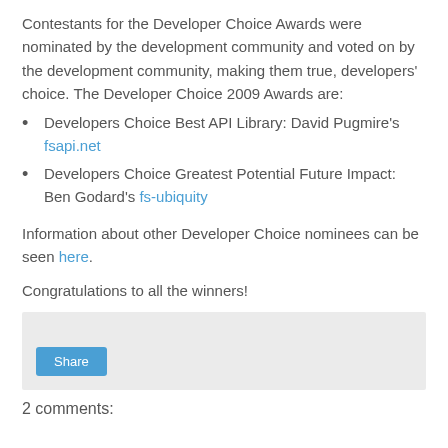Contestants for the Developer Choice Awards were nominated by the development community and voted on by the development community, making them true, developers' choice. The Developer Choice 2009 Awards are:
Developers Choice Best API Library: David Pugmire's fsapi.net
Developers Choice Greatest Potential Future Impact: Ben Godard's fs-ubiquity
Information about other Developer Choice nominees can be seen here.
Congratulations to all the winners!
[Figure (other): Share button widget area with light grey background]
2 comments: